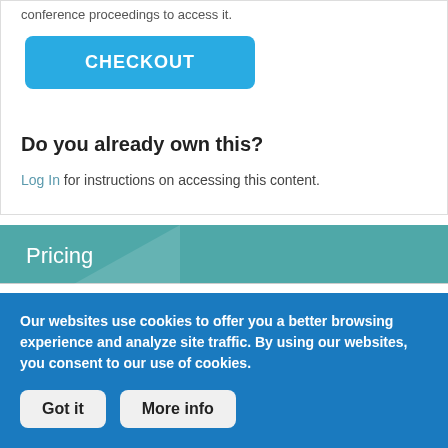conference proceedings to access it.
CHECKOUT
Do you already own this?
Log In for instructions on accessing this content.
Pricing
Individuals
Our websites use cookies to offer you a better browsing experience and analyze site traffic. By using our websites, you consent to our use of cookies.
Got it
More info